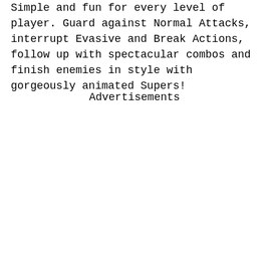Simple and fun for every level of player. Guard against Normal Attacks, interrupt Evasive and Break Actions, follow up with spectacular combos and finish enemies in style with gorgeously animated Supers!
Advertisements